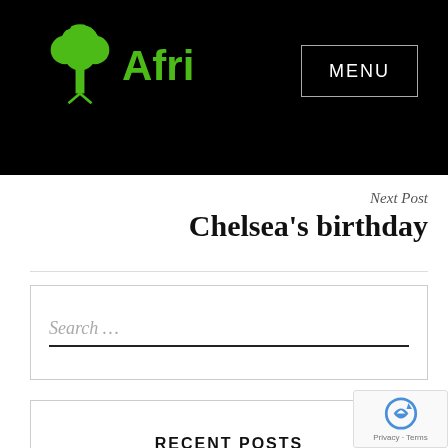Afri — MENU
Next Post
Chelsea’s birthday
Search ...
RECENT POSTS